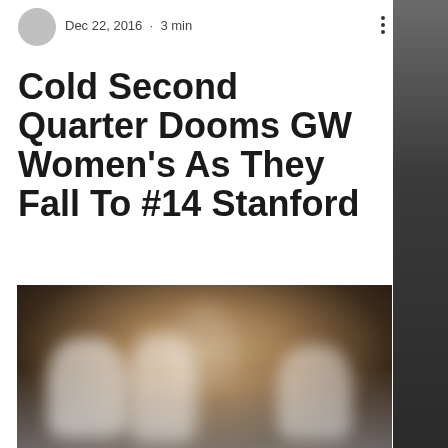Dec 22, 2016 · 3 min
Cold Second Quarter Dooms GW Women's As They Fall To #14 Stanford
[Figure (photo): Blurry photograph of basketball players in white jerseys on a dark court, likely a game action photo.]